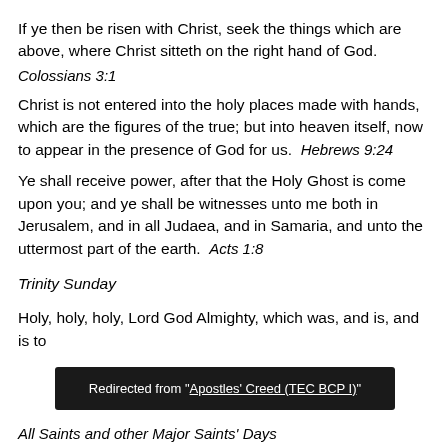If ye then be risen with Christ, seek the things which are above, where Christ sitteth on the right hand of God.
Colossians 3:1
Christ is not entered into the holy places made with hands, which are the figures of the true; but into heaven itself, now to appear in the presence of God for us.  Hebrews 9:24
Ye shall receive power, after that the Holy Ghost is come upon you; and ye shall be witnesses unto me both in Jerusalem, and in all Judaea, and in Samaria, and unto the uttermost part of the earth.  Acts 1:8
Trinity Sunday
Holy, holy, holy, Lord God Almighty, which was, and is, and is to
Redirected from "Apostles' Creed (TEC BCP I)"
All Saints and other Major Saints' Days